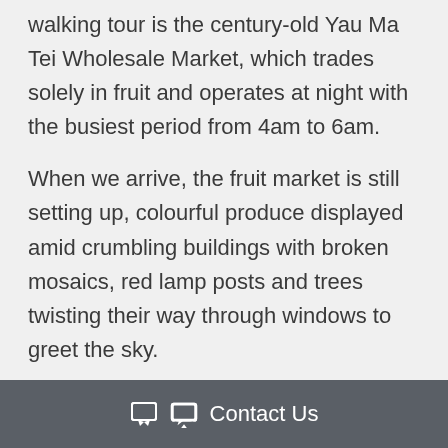walking tour is the century-old Yau Ma Tei Wholesale Market, which trades solely in fruit and operates at night with the busiest period from 4am to 6am.
When we arrive, the fruit market is still setting up, colourful produce displayed amid crumbling buildings with broken mosaics, red lamp posts and trees twisting their way through windows to greet the sky.
Staying on the darker tip: 10 Grand Hotels With Dark History
Contact Us